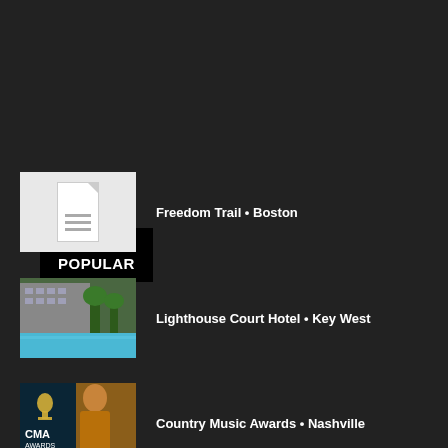MOST POPULAR
Freedom Trail • Boston
Lighthouse Court Hotel • Key West
Country Music Awards • Nashville